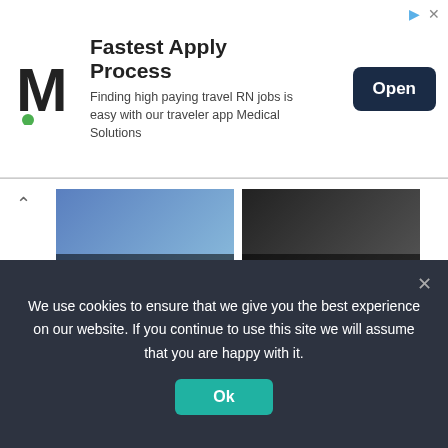[Figure (advertisement): Ad banner: Medical Solutions logo (M with green dot), headline 'Fastest Apply Process', subtext 'Finding high paying travel RN jobs is easy with our traveler app Medical Solutions', and an 'Open' button. Arrow and X icons top-right.]
[Figure (screenshot): Carousel with two thumbnail images: 'ocial Media Like...' and 'Jim Ratcliffe says...' with three navigation dots below (blue, gray, dark gray) and an up-arrow chevron on the left.]
Recent Posts
11 seconds ago
We use cookies to ensure that we give you the best experience on our website. If you continue to use this site we will assume that you are happy with it.
Ok